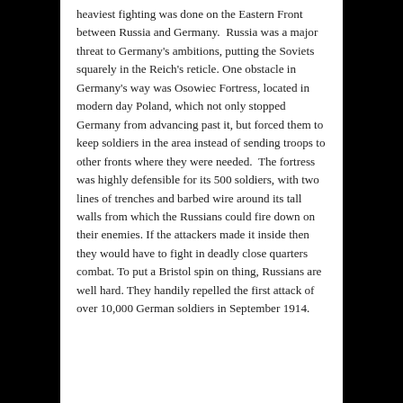heaviest fighting was done on the Eastern Front between Russia and Germany.  Russia was a major threat to Germany's ambitions, putting the Soviets squarely in the Reich's reticle. One obstacle in Germany's way was Osowiec Fortress, located in modern day Poland, which not only stopped Germany from advancing past it, but forced them to keep soldiers in the area instead of sending troops to other fronts where they were needed.  The fortress was highly defensible for its 500 soldiers, with two lines of trenches and barbed wire around its tall walls from which the Russians could fire down on their enemies. If the attackers made it inside then they would have to fight in deadly close quarters combat. To put a Bristol spin on thing, Russians are well hard. They handily repelled the first attack of over 10,000 German soldiers in September 1914.